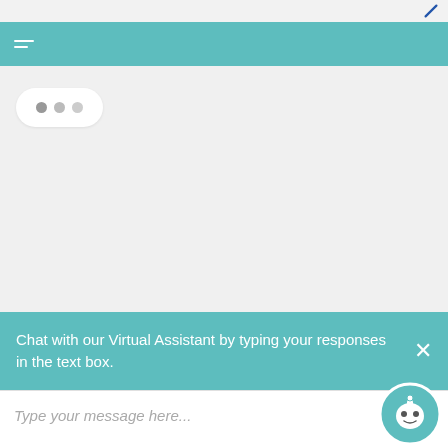[Figure (screenshot): Mobile app UI showing a teal navigation bar with hamburger menu icon]
[Figure (screenshot): Chat interface with typing indicator bubble showing three dots]
Chat with our Virtual Assistant by typing your responses in the text box.
Type your message here...
records, reports, documents, etc.
Computers/Software
Transmit information or documents using a computer.